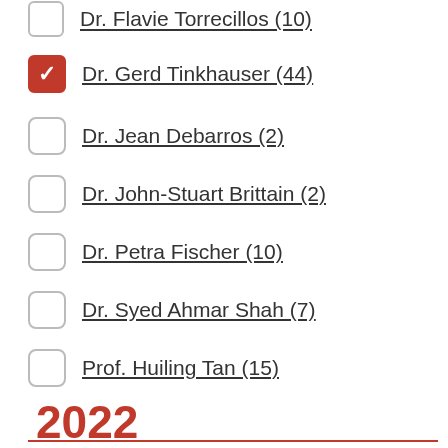Dr. Flavie Torrecillos (10)
Dr. Gerd Tinkhauser (44)
Dr. Jean Debarros (2)
Dr. John-Stuart Brittain (2)
Dr. Petra Fischer (10)
Dr. Syed Ahmar Shah (7)
Prof. Huiling Tan (15)
Prof. Peter Brown (43)
Prof. Rafal Bogacz (6)
2022
Shah SA, Neymotin TAK, Botzoris K...